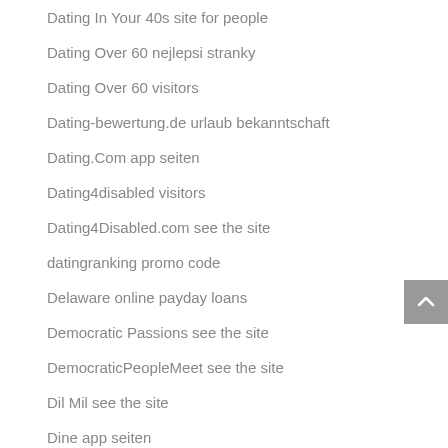Dating In Your 40s site for people
Dating Over 60 nejlepsi stranky
Dating Over 60 visitors
Dating-bewertung.de urlaub bekanntschaft
Dating.Com app seiten
Dating4disabled visitors
Dating4Disabled.com see the site
datingranking promo code
Delaware online payday loans
Democratic Passions see the site
DemocraticPeopleMeet see the site
Dil Mil see the site
Dine app seiten
Disabled Dating apps
Divorced Dating real singles site